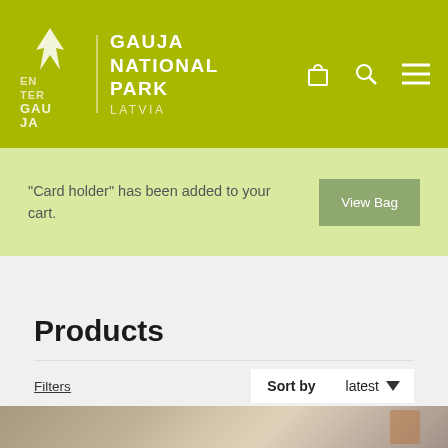GAUJA NATIONAL PARK LATVIA
"Card holder" has been added to your cart.
View Bag
Products
Filters
Sort by latest
[Figure (photo): Product image partially visible at bottom of page]